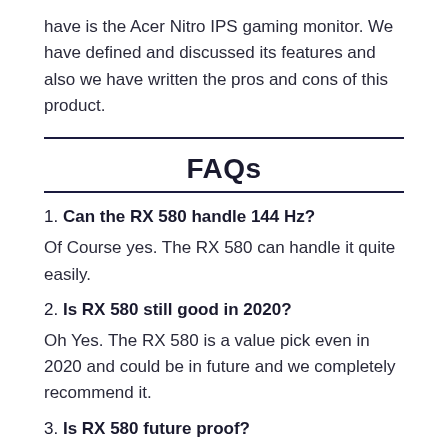have is the Acer Nitro IPS gaming monitor. We have defined and discussed its features and also we have written the pros and cons of this product.
FAQs
1. Can the RX 580 handle 144 Hz?
Of Course yes. The RX 580 can handle it quite easily.
2. Is RX 580 still good in 2020?
Oh Yes. The RX 580 is a value pick even in 2020 and could be in future and we completely recommend it.
3. Is RX 580 future proof?